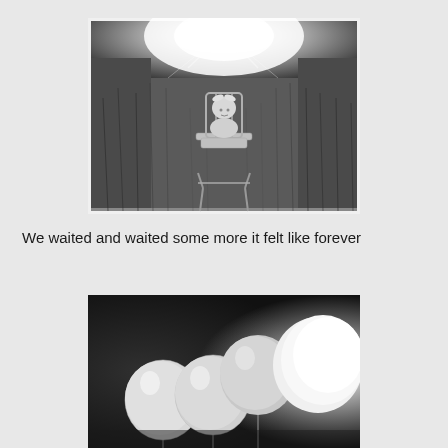[Figure (photo): Black and white photograph of a baby sitting in a vintage high chair in a field of tall grass, with bright light in the upper background]
We waited and waited some more it felt like forever
[Figure (photo): Black and white photograph of white balloons clustered together against a dark background with bright light on the right]